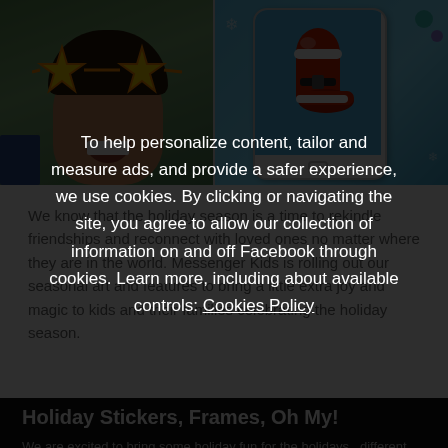[Figure (photo): Two smartphone/app screenshots: left shows a child with star-shaped glasses filter (holiday AR effect), right shows a phone displaying a Christmas boot/gift 3D image on blue background.]
We know that the holiday season is a time to rekindle friendships and reconnect with loved ones no matter where they are in the world. Messenger Kids is rolling out our seasonal art and features to bring a little extra joy and magic to kids and their families celebrating the holiday season.
Holiday Stickers, Frames, Oh My!
We are excited to bring some holiday fun for the holidays...different must...in the Messenger Kids...
To help personalize content, tailor and measure ads, and provide a safer experience, we use cookies. By clicking or navigating the site, you agree to allow our collection of information on and off Facebook through cookies. Learn more, including about available controls: Cookies Policy